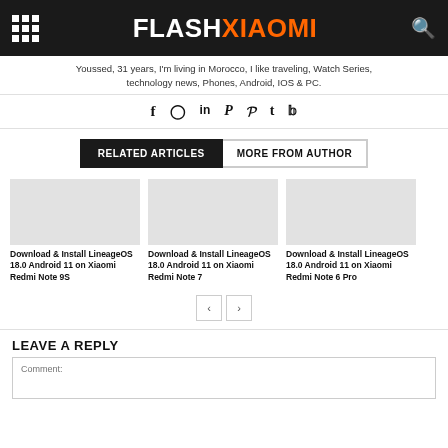FLASHXIAOMI
Youssed, 31 years, I'm living in Morocco, I like traveling, Watch Series, technology news, Phones, Android, IOS & PC.
[Figure (other): Social media icons: Facebook, Instagram, LinkedIn, Paypal, Pinterest, Tumblr, Twitter]
RELATED ARTICLES / MORE FROM AUTHOR
[Figure (other): Blank article image placeholder for Redmi Note 9S]
Download & Install LineageOS 18.0 Android 11 on Xiaomi Redmi Note 9S
[Figure (other): Blank article image placeholder for Redmi Note 7]
Download & Install LineageOS 18.0 Android 11 on Xiaomi Redmi Note 7
[Figure (other): Blank article image placeholder for Redmi Note 6 Pro]
Download & Install LineageOS 18.0 Android 11 on Xiaomi Redmi Note 6 Pro
LEAVE A REPLY
Comment: